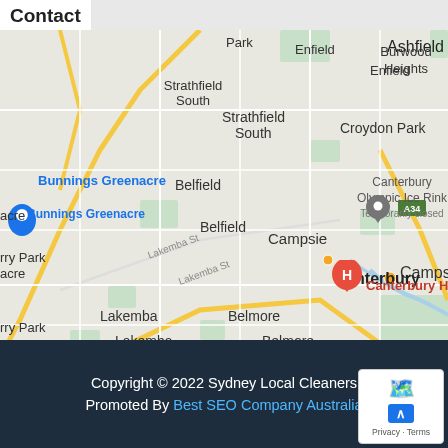Contact
[Figure (map): Google Maps screenshot showing suburbs around Canterbury, NSW, Australia. Notable labels: Ashfield (top right), Burwood Heights, Enfield, Croydon Park, Strathfield South, Bunnings Greenacre, Belfield, Canterbury Olympic Ice Rink (Temporarily closed), Campsie, Canterbury, Canterbury Hospital (red H marker), Lakemba, Belmore. Road A34 visible. Blue location pin near Canterbury Olympic Ice Rink area. Lakemba St label visible diagonally.]
Copyright © 2022 Sydney Local Cleaners
Promoted By Best SEO Company Australia